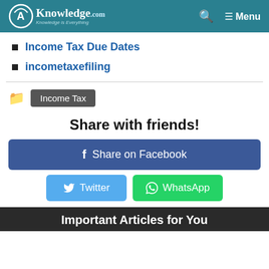CA Knowledge.com — Menu
Income Tax Due Dates
incometaxefiling
Income Tax
Share with friends!
f Share on Facebook
Twitter  WhatsApp
Important Articles for You